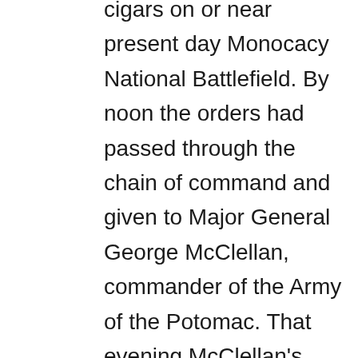orders in an envelope with the cigars on or near present day Monocacy National Battlefield. By noon the orders had passed through the chain of command and given to Major General George McClellan, commander of the Army of the Potomac. That evening McClellan's commanders had their orders to march.
The two armies fought at the Battle of South Mountain, and on September 17th at the Battle of Antietam. McClellan halted Lee's